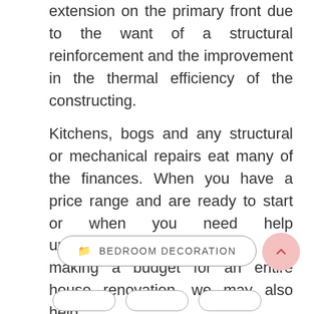extension on the primary front due to the want of a structural reinforcement and the improvement in the thermal efficiency of the constructing.
Kitchens, bogs and any structural or mechanical repairs eat many of the finances. When you have a price range and are ready to start or when you need help understanding the prices and making a budget for an entire house renovation, we may also help.
BEDROOM DECORATION